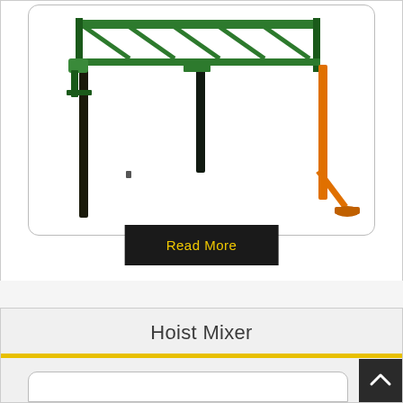[Figure (photo): Industrial frame/mixer equipment with green truss frame at top and orange support leg on the right side, photographed on white background, displayed inside a rounded-corner card.]
Read More
Hoist Mixer
[Figure (photo): Partially visible product image inside rounded-corner white frame at the bottom of the page (hoist mixer product, cropped).]